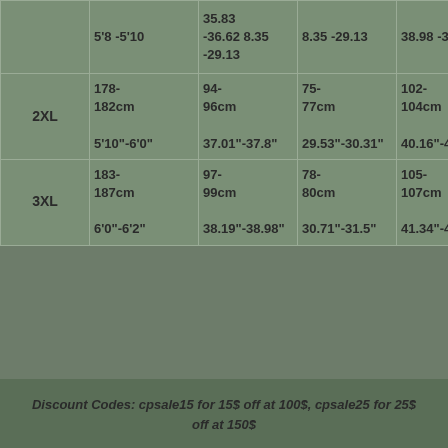| Size | Height | Chest | Waist | Hip |
| --- | --- | --- | --- | --- |
|  | 5'8"-5'10" | 35.83"-36.62" | 28.35"-29.13" | 38.98"-39.7" |
| 2XL | 178-182cm
5'10"-6'0" | 94-96cm
37.01"-37.8" | 75-77cm
29.53"-30.31" | 102-104cm
40.16"-40.9" |
| 3XL | 183-187cm
6'0"-6'2" | 97-99cm
38.19"-38.98" | 78-80cm
30.71"-31.5" | 105-107cm
41.34"-42.13" |
Discount Codes: cpsale15 for 15$ off at 100$, cpsale25 for 25$ off at 150$